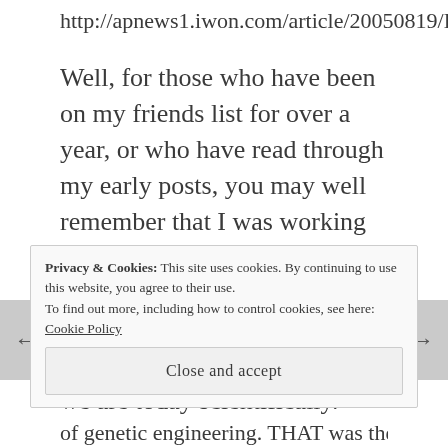http://apnews1.iwon.com/article/20050819/D8
Well, for those who have been on my friends list for over a year, or who have read through my early posts, you may well remember that I was working on a theory along this line – a theory where Atlantis existed as a pre-Biblical Flood society which was more advanced than we are today scientifically.
Privacy & Cookies: This site uses cookies. By continuing to use this website, you agree to their use.
To find out more, including how to control cookies, see here:
Cookie Policy
Close and accept
of genetic engineering. THAT was the sin of